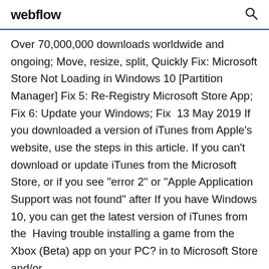webflow
Over 70,000,000 downloads worldwide and ongoing; Move, resize, split, Quickly Fix: Microsoft Store Not Loading in Windows 10 [Partition Manager] Fix 5: Re-Registry Microsoft Store App; Fix 6: Update your Windows; Fix  13 May 2019 If you downloaded a version of iTunes from Apple's website, use the steps in this article. If you can't download or update iTunes from the Microsoft Store, or if you see "error 2" or "Apple Application Support was not found" after If you have Windows 10, you can get the latest version of iTunes from the  Having trouble installing a game from the Xbox (Beta) app on your PC? in to Microsoft Store and/or